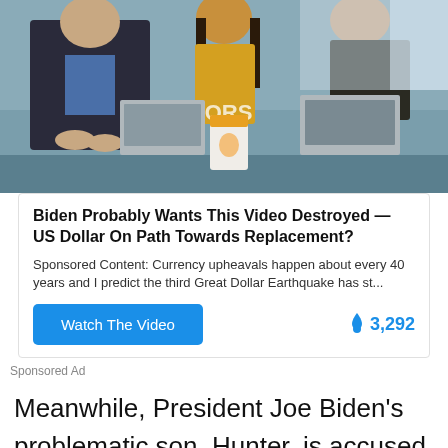[Figure (screenshot): TV news studio scene showing three people seated at a desk with laptops and a coffee cup, with 'YORS' text visible]
Biden Probably Wants This Video Destroyed — US Dollar On Path Towards Replacement?
Sponsored Content: Currency upheavals happen about every 40 years and I predict the third Great Dollar Earthquake has st...
Watch The Video
🔥 3,292
Sponsored Ad
Meanwhile, President Joe Biden's problematic son, Hunter, is accused of using the n-word multiple times, and he has not been the subject of the same wokeness.